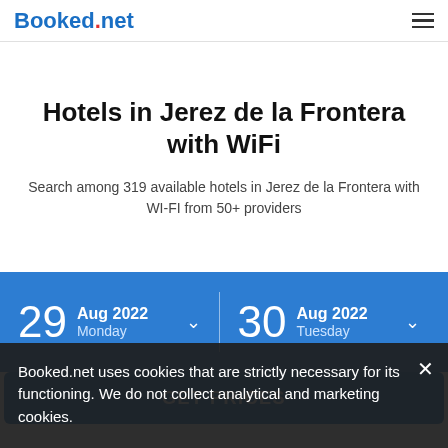Booked.net
Hotels in Jerez de la Frontera with WiFi
Search among 319 available hotels in Jerez de la Frontera with WI-FI from 50+ providers
29 Aug 2022 Monday  30 Aug 2022 Tuesday
GET PRICES
Booked.net uses cookies that are strictly necessary for its functioning. We do not collect analytical and marketing cookies.
Filter by  Sort by  View map